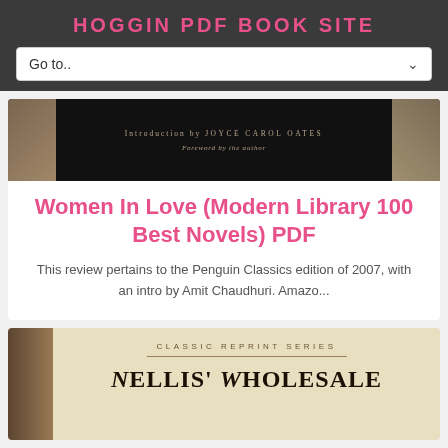HOGGIN PDF BOOK SITE
Go to..
[Figure (illustration): Partial book cover for Women In Love showing 'Introduction by JOYCE CAROL OATES' and 'Foreword by the author' on a dark background with stone/statue imagery on sides]
Women In Love (Modern Library 100 Best Novels) PDF
This review pertains to the Penguin Classics edition of 2007, with an intro by Amit Chaudhuri. Amazo...
[Figure (illustration): Partial book cover showing 'CLASSIC REPRINT SERIES' label and beginning of title 'NELLIS' WHOLESALE' on aged cream/tan background with dark spine on left]